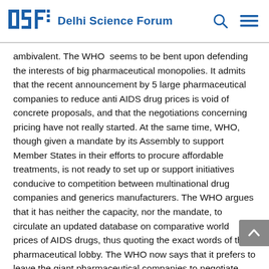DSF Delhi Science Forum
ambivalent. The WHO seems to be bent upon defending the interests of big pharmaceutical monopolies. It admits that the recent announcement by 5 large pharmaceutical companies to reduce anti AIDS drug prices is void of concrete proposals, and that the negotiations concerning pricing have not really started. At the same time, WHO, though given a mandate by its Assembly to support Member States in their efforts to procure affordable treatments, is not ready to set up or support initiatives conducive to competition between multinational drug companies and generics manufacturers. The WHO argues that it has neither the capacity, nor the mandate, to circulate an updated database on comparative world prices of AIDS drugs, thus quoting the exact words of the pharmaceutical lobby. The WHO now says that it prefers to leave the giant pharmaceutical companies to negotiate with “client” countries in a bilateral fashion, rather than define a